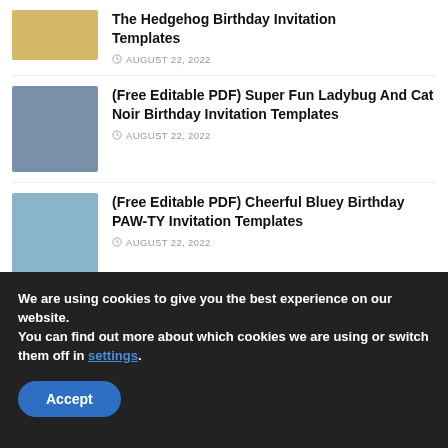The Hedgehog Birthday Invitation Templates — AUGUST 22, 2022
(Free Editable PDF) Super Fun Ladybug And Cat Noir Birthday Invitation Templates — AUGUST 22, 2022
(Free Editable PDF) Cheerful Bluey Birthday PAW-TY Invitation Templates — AUGUST 22, 2022
We are using cookies to give you the best experience on our website.
You can find out more about which cookies we are using or switch them off in settings.